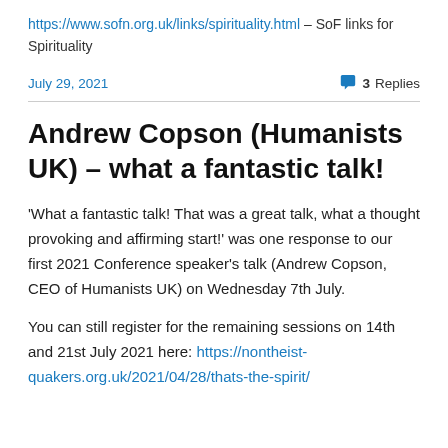https://www.sofn.org.uk/links/spirituality.html – SoF links for Spirituality
July 29, 2021   💬 3 Replies
Andrew Copson (Humanists UK) – what a fantastic talk!
'What a fantastic talk! That was a great talk, what a thought provoking and affirming start!' was one response to our first 2021 Conference speaker's talk (Andrew Copson, CEO of Humanists UK) on Wednesday 7th July.
You can still register for the remaining sessions on 14th and 21st July 2021 here: https://nontheist-quakers.org.uk/2021/04/28/thats-the-spirit/